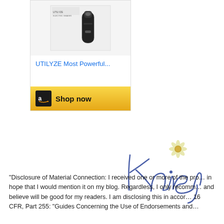[Figure (screenshot): Amazon product widget showing UTILYZE electric shaver/trimmer product in white packaging with a black device. Below the product image is blue linked text 'UTILYZE Most Powerful...' and an Amazon 'Shop now' button bar with golden background and the Amazon logo.]
[Figure (illustration): Cursive handwritten signature reading 'Kaisy' in blue ink with a small daisy flower illustration above the letter K.]
“Disclosure of Material Connection: I received one or more of the pro… in hope that I would mention it on my blog. Regardless, I only recomm… and believe will be good for my readers. I am disclosing this in accor… 16 CFR, Part 255: “Guides Concerning the Use of Endorsements and…